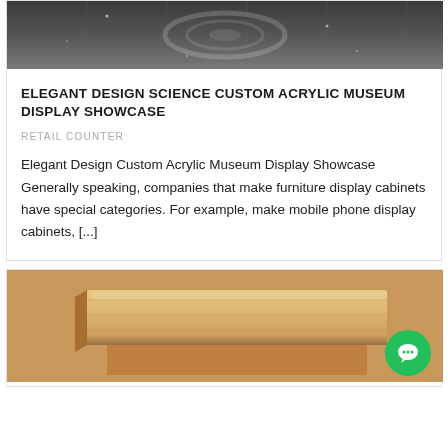[Figure (photo): Top portion of a museum display showcase with circular/spiral design elements on a tiled floor, viewed from above, in dark tones]
ELEGANT DESIGN SCIENCE CUSTOM ACRYLIC MUSEUM DISPLAY SHOWCASE
RETAIL COUNTER
Elegant Design Custom Acrylic Museum Display Showcase Generally speaking, companies that make furniture display cabinets have special categories. For example, make mobile phone display cabinets, [...]
[Figure (photo): Wooden furniture piece, appears to be a light-colored wood display counter or desk, partially visible from above at an angle]